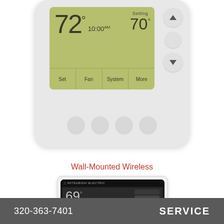[Figure (photo): White thermostat device with green LCD display showing 72° temperature, 10:00 AM time, Setting 70°, with Set/Fan/System/More buttons on screen and four round hardware buttons at bottom, plus up/down arrow buttons on right side]
Wall-Mounted Wireless
[Figure (photo): Mitsubishi Electric wall-mounted wireless thermostat controller with black body, showing 69° on the display, with control buttons at the bottom]
320-363-7401   SERVICE